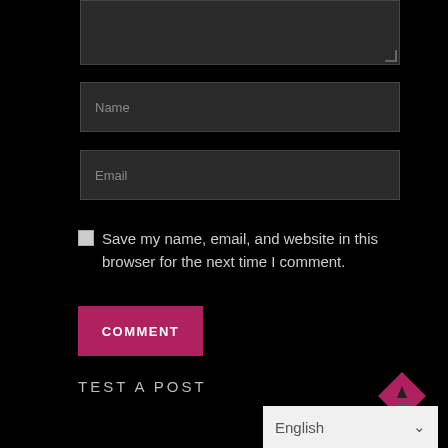[Figure (screenshot): Dark-themed comment form textarea (partially visible at top)]
Name
Email
Save my name, email, and website in this browser for the next time I comment.
COMMENT
TEST A POST
English